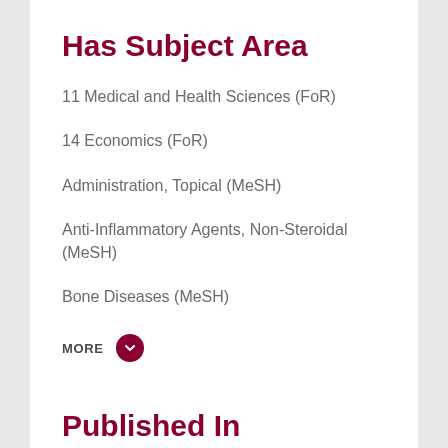Has Subject Area
11 Medical and Health Sciences (FoR)
14 Economics (FoR)
Administration, Topical (MeSH)
Anti-Inflammatory Agents, Non-Steroidal (MeSH)
Bone Diseases (MeSH)
MORE
Published In